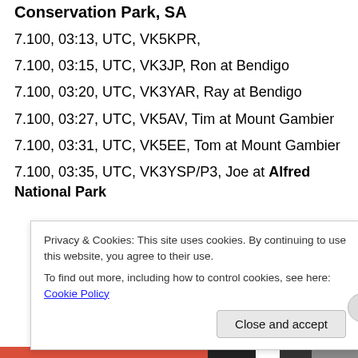Conservation Park, SA
7.100, 03:13, UTC, VK5KPR,
7.100, 03:15, UTC, VK3JP, Ron at Bendigo
7.100, 03:20, UTC, VK3YAR, Ray at Bendigo
7.100, 03:27, UTC, VK5AV, Tim at Mount Gambier
7.100, 03:31, UTC, VK5EE, Tom at Mount Gambier
7.100, 03:35, UTC, VK3YSP/P3, Joe at Alfred National Park
Privacy & Cookies: This site uses cookies. By continuing to use this website, you agree to their use. To find out more, including how to control cookies, see here: Cookie Policy